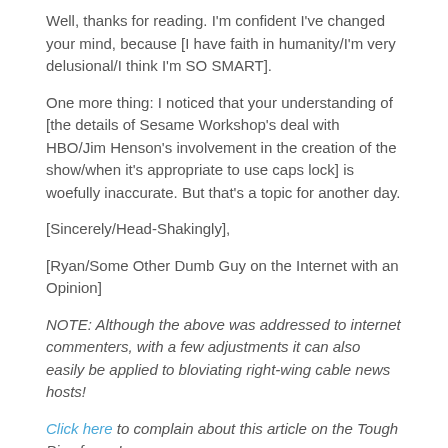Well, thanks for reading. I'm confident I've changed your mind, because [I have faith in humanity/I'm very delusional/I think I'm SO SMART].
One more thing: I noticed that your understanding of [the details of Sesame Workshop's deal with HBO/Jim Henson's involvement in the creation of the show/when it's appropriate to use caps lock] is woefully inaccurate. But that's a topic for another day.
[Sincerely/Head-Shakingly],
[Ryan/Some Other Dumb Guy on the Internet with an Opinion]
NOTE: Although the above was addressed to internet commenters, with a few adjustments it can also easily be applied to bloviating right-wing cable news hosts!
Click here to complain about this article on the Tough Pigs forum!